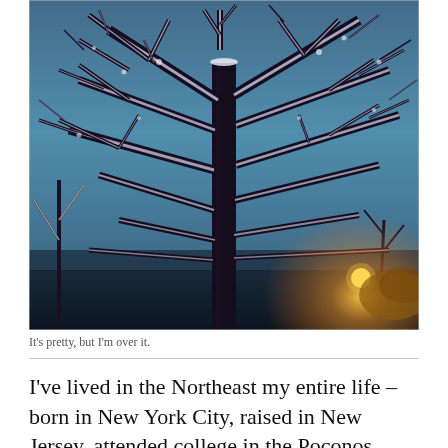[Figure (photo): A winter scene showing a large tree with snow-covered branches against a blue twilight sky. A streetlamp glows in the lower right corner, and smaller snow-covered trees are visible in the background.]
It's pretty, but I'm over it.
I've lived in the Northeast my entire life – born in New York City, raised in New Jersey, attended college in the Poconos